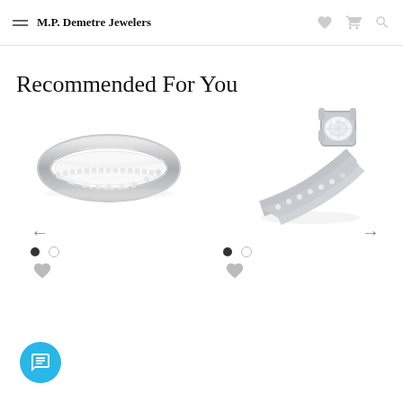M.P. Demetre Jewelers
Recommended For You
[Figure (photo): Silver diamond pavé band ring, thin, with small diamonds along the band, top-down slightly angled view]
[Figure (photo): Diamond solitaire engagement ring with pavé-set diamond shank, prominent round center stone in prong setting, angled view]